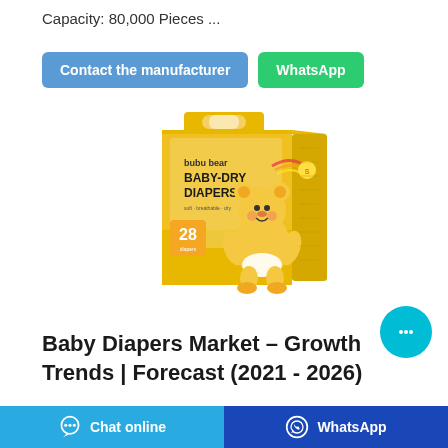Capacity: 80,000 Pieces ...
Contact the manufacturer | WhatsApp
[Figure (photo): Bubu Bear Baby-Dry Diapers product package, yellow box with 28 count, bear mascot illustration]
Baby Diapers Market – Growth Trends | Forecast (2021 - 2026)
Chat online | WhatsApp